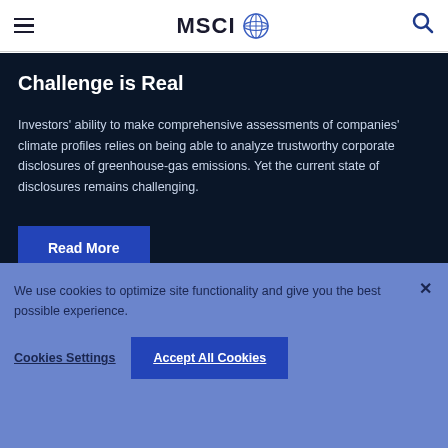MSCI
Challenge is Real
Investors' ability to make comprehensive assessments of companies' climate profiles relies on being able to analyze trustworthy corporate disclosures of greenhouse-gas emissions. Yet the current state of disclosures remains challenging.
Read More
We use cookies to optimize site functionality and give you the best possible experience.
Cookies Settings  Accept All Cookies